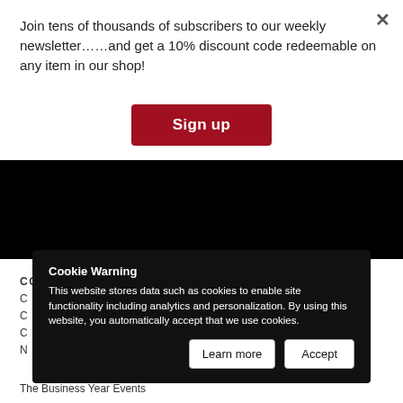Join tens of thousands of subscribers to our weekly newsletter……and get a 10% discount code redeemable on any item in our shop!
Sign up
[Figure (other): Black rectangular section, likely a video or image placeholder]
CONNECT
ABOUT
Cookie Warning
This website stores data such as cookies to enable site functionality including analytics and personalization. By using this website, you automatically accept that we use cookies.
Learn more
Accept
The Business Year Events